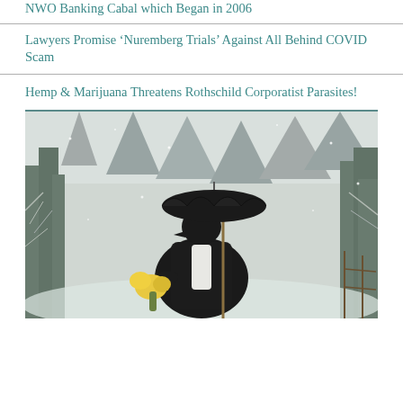NWO Banking Cabal which Began in 2006
Lawyers Promise ‘Nuremberg Trials’ Against All Behind COVID Scam
Hemp & Marijuana Threatens Rothschild Corporatist Parasites!
[Figure (photo): A figure dressed in black with a crow/raven head, holding a black umbrella and a bouquet of yellow flowers, standing in a snowy forested mountain landscape with tall rocky spires in the background.]